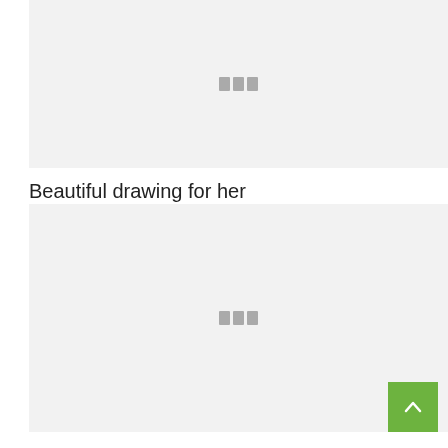[Figure (photo): Image placeholder with loading icon - first image block at top of page]
Beautiful drawing for her
[Figure (photo): Image placeholder with loading icon - second image block below title]
...